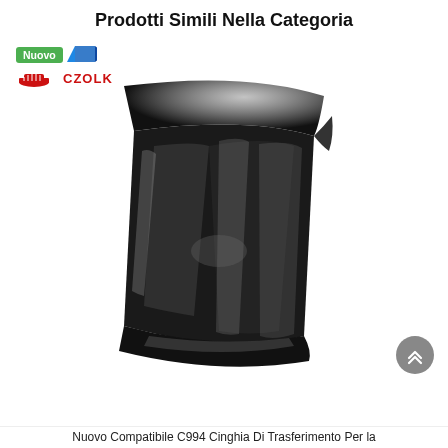Prodotti Simili Nella Categoria
[Figure (photo): Product listing card showing a CZOLK brand black glossy transfer belt/film sheet, folded/curled to show its flexible plastic material. A green 'Nuovo' badge and CZOLK logo appear in the top-left corner. A back-to-top button (double chevron up) appears in the bottom-right.]
Nuovo Compatibile C994 Cinghia Di Trasferimento Per la